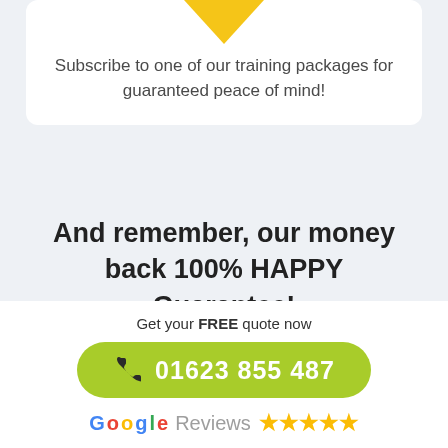[Figure (illustration): Yellow downward arrow at top of white card]
Subscribe to one of our training packages for guaranteed peace of mind!
And remember, our money back 100% HAPPY Guarantee!
Get your FREE quote now
[Figure (infographic): Green rounded button with phone icon and number 01623 855 487]
Google Reviews ★★★★★